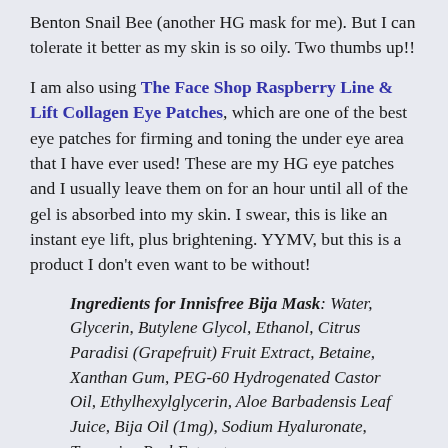Benton Snail Bee (another HG mask for me). But I can tolerate it better as my skin is so oily. Two thumbs up!!
I am also using The Face Shop Raspberry Line & Lift Collagen Eye Patches, which are one of the best eye patches for firming and toning the under eye area that I have ever used! These are my HG eye patches and I usually leave them on for an hour until all of the gel is absorbed into my skin. I swear, this is like an instant eye lift, plus brightening. YYMV, but this is a product I don't even want to be without!
Ingredients for Innisfree Bija Mask: Water, Glycerin, Butylene Glycol, Ethanol, Citrus Paradisi (Grapefruit) Fruit Extract, Betaine, Xanthan Gum, PEG-60 Hydrogenated Castor Oil, Ethylhexylglycerin, Aloe Barbadensis Leaf Juice, Bija Oil (1mg), Sodium Hyaluronate, Tangerine Peel Extract,